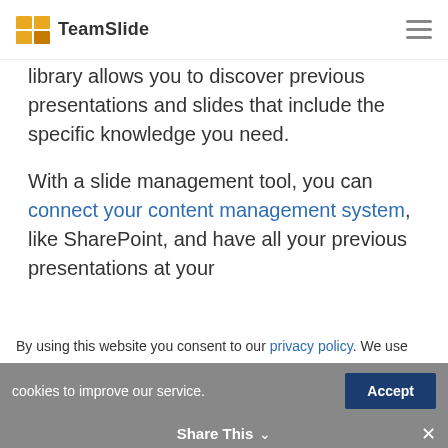TeamSlide
library allows you to discover previous presentations and slides that include the specific knowledge you need.

With a slide management tool, you can connect your content management system, like SharePoint, and have all your previous presentations at your
By using this website you consent to our privacy policy. We use cookies to improve our service.